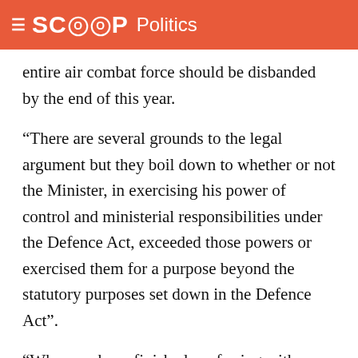SCOOP Politics
entire air combat force should be disbanded by the end of this year.
“There are several grounds to the legal argument but they boil down to whether or not the Minister, in exercising his power of control and ministerial responsibilities under the Defence Act, exceeded those powers or exercised them for a purpose beyond the statutory purposes set down in the Defence Act”.
“When we have finished conferring with our lawyers we will need to decide if and when and in what manner we should pursue any court proceedings. This is not a decision which can be taken lightly, if only because of